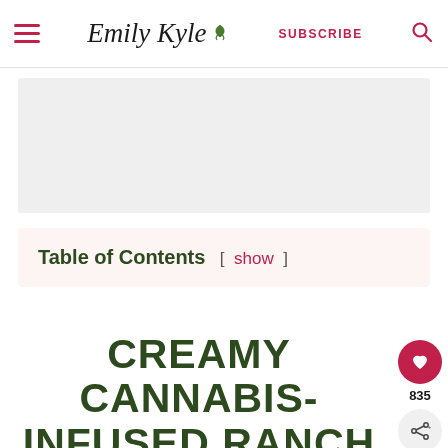Emily Kyle [logo] SUBSCRIBE [search icon]
[Figure (other): Advertisement placeholder area, light gray rectangle]
Table of Contents [ show ]
CREAMY CANNABIS-INFUSED RANCH